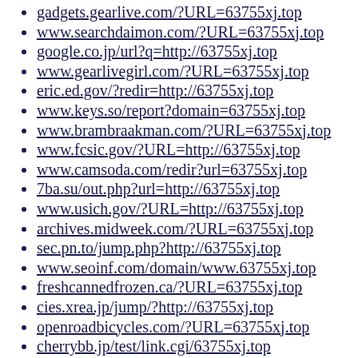gadgets.gearlive.com/?URL=63755xj.top
www.searchdaimon.com/?URL=63755xj.top
google.co.jp/url?q=http://63755xj.top
www.gearlivegirl.com/?URL=63755xj.top
eric.ed.gov/?redir=http://63755xj.top
www.keys.so/report?domain=63755xj.top
www.brambraakman.com/?URL=63755xj.top
www.fcsic.gov/?URL=http://63755xj.top
www.camsoda.com/redir?url=63755xj.top
7ba.su/out.php?url=http://63755xj.top
www.usich.gov/?URL=http://63755xj.top
archives.midweek.com/?URL=63755xj.top
sec.pn.to/jump.php?http://63755xj.top
www.seoinf.com/domain/www.63755xj.top
freshcannedfrozen.ca/?URL=63755xj.top
cies.xrea.jp/jump/?http://63755xj.top
openroadbicycles.com/?URL=63755xj.top
cherrybb.jp/test/link.cgi/63755xj.top
7ba.ru/out.php?url=http://63755xj.top